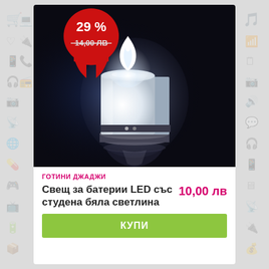[Figure (photo): LED battery-powered candle glowing with cold white light on a dark background, showing a small white cylindrical tea-light candle with bright white LED flame]
29 %
14,00 ЛВ
ГОТИНИ ДЖАДЖИ
Свещ за батерии LED със студена бяла светлина
10,00 лв
КУПИ